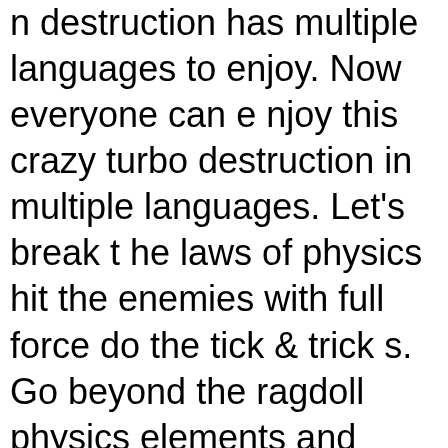n destruction has multiple languages to enjoy. Now everyone can enjoy this crazy turbo destruction in multiple languages. Let's break the laws of physics hit the enemies with full force do the tick & tricks. Go beyond the ragdoll physics elements and create the real environment of ragdoll stickman falling demolition.Find Out The TNT Shop!This is really a fantastic ragdoll stickman annihilation game because it gives the amazing destructive material. Buy TNT do the extreme stickman monster truck driving stunts & make falling ragdoll destruction more exciting.Amazing Features of Ragdoll Stickman Destruction MadnessBest action-packed and thrilling ragdoll annihilation game.Challenging different 15 levels of crazy stickman ragdoll destruction.Different 25 types of advanced vehicles, customization & its destruction. TNT shop and crazy tricks & stunts in ragdoll destruction crash game.Ragdoll physics with so much destruction and crash.Unlock new vehicles, and weapons to show the enem real strength. Amazing HD environment and background sound effects.Best HD graphics with amazing animations.Be the crazy stickman, struggl